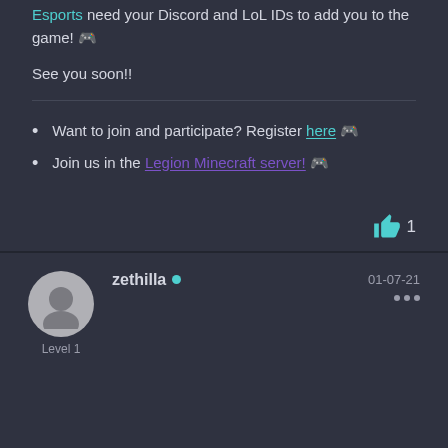Esports need your Discord and LoL IDs to add you to the game! 🎮
See you soon!!
Want to join and participate? Register here 🎮
Join us in the Legion Minecraft server! 🎮
👍 1
zethilla • 01-07-21 Level 1